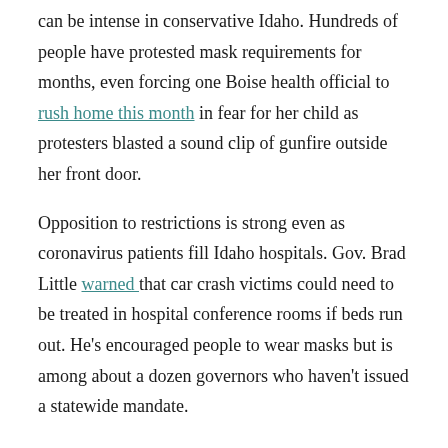can be intense in conservative Idaho. Hundreds of people have protested mask requirements for months, even forcing one Boise health official to rush home this month in fear for her child as protesters blasted a sound clip of gunfire outside her front door.
Opposition to restrictions is strong even as coronavirus patients fill Idaho hospitals. Gov. Brad Little warned that car crash victims could need to be treated in hospital conference rooms if beds run out. He's encouraged people to wear masks but is among about a dozen governors who haven't issued a statewide mandate.
Cooper caught the virus in late October, likely at school, which is open for in-person classes without a mask requirement, said his mother, Dani Wuthrich.